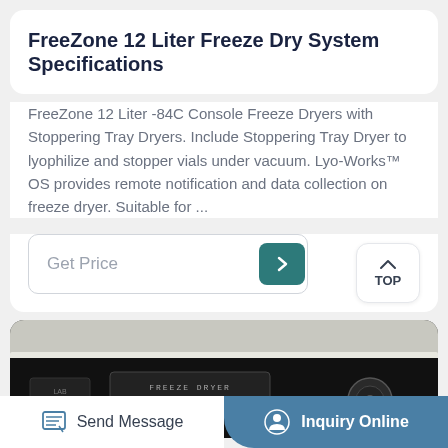FreeZone 12 Liter Freeze Dry System Specifications
FreeZone 12 Liter -84C Console Freeze Dryers with Stoppering Tray Dryers. Include Stoppering Tray Dryer to lyophilize and stopper vials under vacuum. Lyo-Works™ OS provides remote notification and data collection on freeze dryer. Suitable for ...
[Figure (screenshot): Get Price button with teal arrow icon and TOP navigation button]
[Figure (photo): Freeze dryer equipment photo showing a console freeze dryer with black front panel labeled FREEZE DRYER and metallic top surface]
Send Message | Inquiry Online